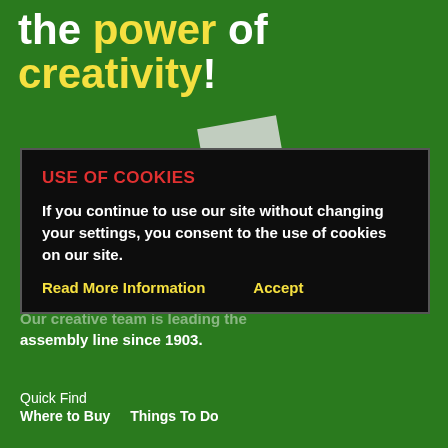the power of creativity!
[Figure (screenshot): Cookie consent overlay dialog on a green website. Contains heading 'USE OF COOKIES' in red, body text in white, and two yellow links: 'Read More Information' and 'Accept'.]
assembly line since 1903.
Quick Find
Where to Buy    Things To Do